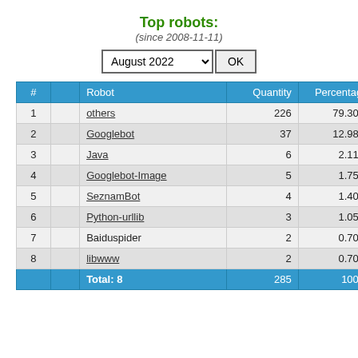Top robots:
(since 2008-11-11)
| # |  | Robot | Quantity | Percentage |  |
| --- | --- | --- | --- | --- | --- |
| 1 |  | others | 226 | 79.30% |  |
| 2 |  | Googlebot | 37 | 12.98% |  |
| 3 |  | Java | 6 | 2.11% |  |
| 4 |  | Googlebot-Image | 5 | 1.75% |  |
| 5 |  | SeznamBot | 4 | 1.40% |  |
| 6 |  | Python-urllib | 3 | 1.05% |  |
| 7 |  | Baiduspider | 2 | 0.70% |  |
| 8 |  | libwww | 2 | 0.70% |  |
| Total: 8 |  |  | 285 | 100% |  |